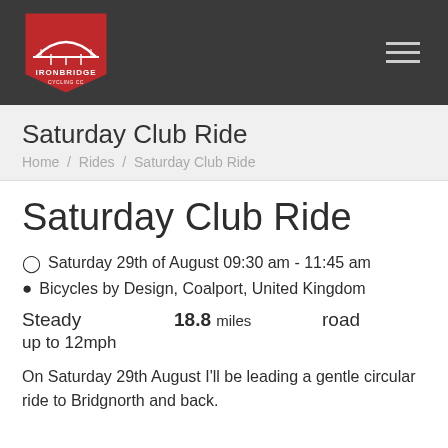[Figure (logo): Ironbridge Cycling Club logo — red pentagon badge with arch bridge illustration and text IRONBRIDGE on dark header bar]
Saturday Club Ride / Home / Rides / Saturday Club Ride
Saturday Club Ride
Saturday 29th of August 09:30 am - 11:45 am
Bicycles by Design, Coalport, United Kingdom
Steady   18.8 miles   road
up to 12mph
On Saturday 29th August I'll be leading a gentle circular ride to Bridgnorth and back.